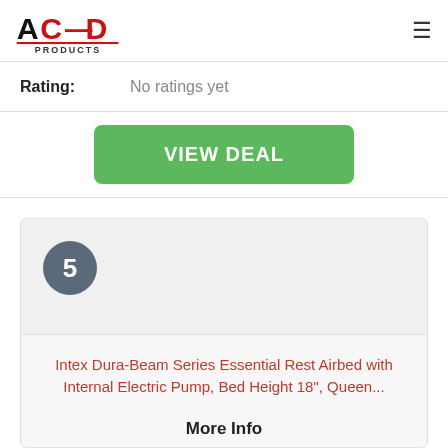[Figure (logo): ACED Products logo — black and red letters, with PRODUCTS text below and red underline]
| Field | Value |
| --- | --- |
| Rating: | No ratings yet |
VIEW DEAL
5
Intex Dura-Beam Series Essential Rest Airbed with Internal Electric Pump, Bed Height 18", Queen...
More Info